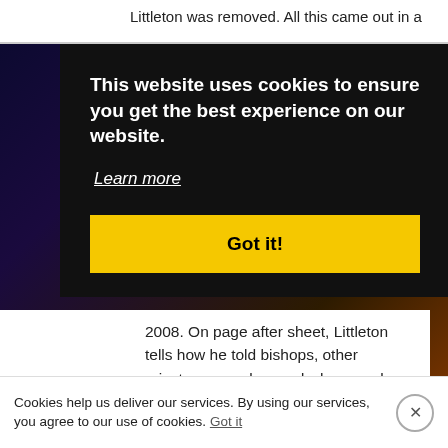Littleton was removed. All this came out in a
This website uses cookies to ensure you get the best experience on our website.
Learn more
Got it!
2008. On page after sheet, Littleton tells how he told bishops, other priests, counselors and whoever else would listen about McCarrick and that many of his sexual problems dated back to this prelate. Littleton is the writer of the memo about the fish camp.
But no one dared to go against such a potent
Cookies help us deliver our services. By using our services, you agree to our use of cookies.
Got it